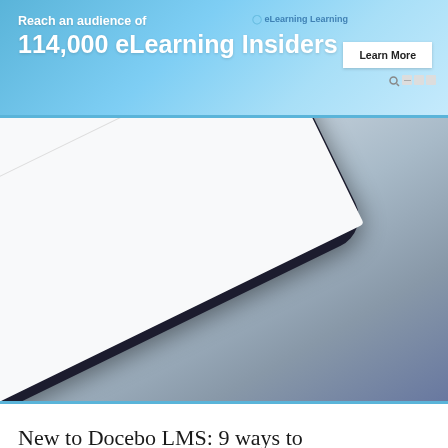[Figure (infographic): eLearning Learning banner ad: 'Reach an audience of 114,000 eLearning Insiders' with a Learn More button on a blue gradient background]
[Figure (photo): Close-up photo of a smartphone displaying Google search results for 'analytics', showing Google Analytics - Mobile, Premier listing with URL and description]
New to Docebo LMS: 9 ways to